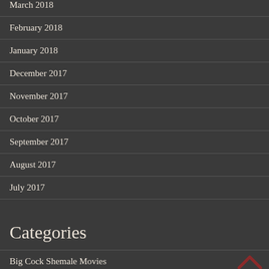March 2018
February 2018
January 2018
December 2017
November 2017
October 2017
September 2017
August 2017
July 2017
Categories
Big Cock Shemale Movies
Big Tits Tranny Movies